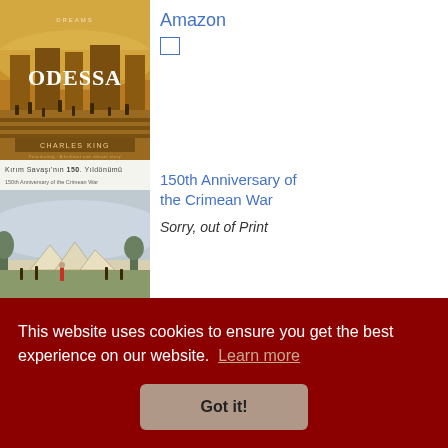[Figure (illustration): Book cover for 'Odessa: Genius and Death in a City of Dreams' by Charles King, showing a golden warm-toned cityscape with crowds on steps]
Amazon
[Figure (illustration): Book cover for '150th Anniversary of the Crimean War' showing a landscape with tents and soldiers in muted blue-green tones]
150th Anniversary of the Crimean War
Sorry, out of Print
[Figure (illustration): Partial view of a third book cover at bottom of page]
This website uses cookies to ensure you get the best experience on our website. Learn more
Got it!